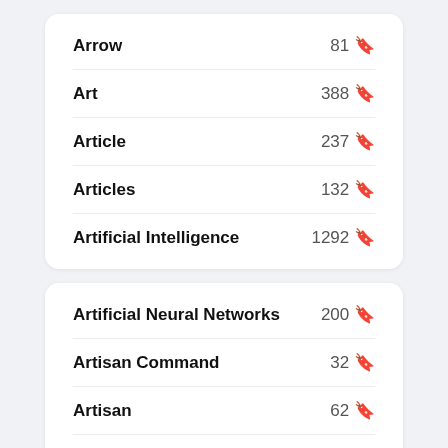| Term | Count |
| --- | --- |
| Arrow | 81 🔖 |
| Art | 388 🔖 |
| Article | 237 🔖 |
| Articles | 132 🔖 |
| Artificial Intelligence | 1292 🔖 |
| Term | Count |
| --- | --- |
| Artificial Neural Networks | 200 🔖 |
| Artisan Command | 32 🔖 |
| Artisan | 62 🔖 |
| Artnet | 33 🔖 |